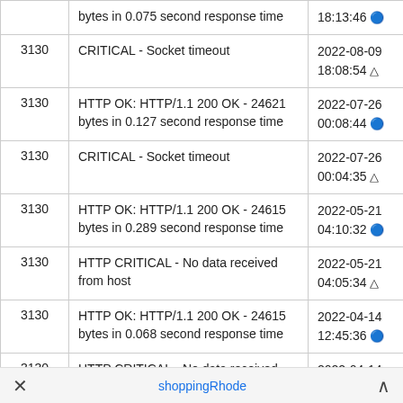|  | Message | Timestamp |
| --- | --- | --- |
|  | bytes in 0.075 second response time | 18:13:46 🔵 |
| 3130 | CRITICAL - Socket timeout | 2022-08-09
18:08:54 ⚠ |
| 3130 | HTTP OK: HTTP/1.1 200 OK - 24621 bytes in 0.127 second response time | 2022-07-26
00:08:44 🔵 |
| 3130 | CRITICAL - Socket timeout | 2022-07-26
00:04:35 ⚠ |
| 3130 | HTTP OK: HTTP/1.1 200 OK - 24615 bytes in 0.289 second response time | 2022-05-21
04:10:32 🔵 |
| 3130 | HTTP CRITICAL - No data received from host | 2022-05-21
04:05:34 ⚠ |
| 3130 | HTTP OK: HTTP/1.1 200 OK - 24615 bytes in 0.068 second response time | 2022-04-14
12:45:36 🔵 |
| 3130 | HTTP CRITICAL - No data received | 2022-04-14 |
× shoppingRhode ^